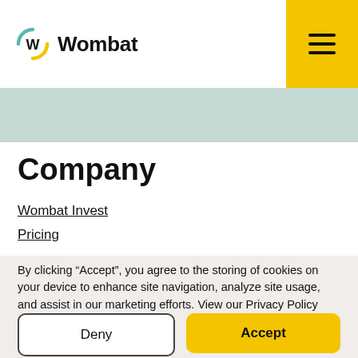Wombat
Company
Wombat Invest
Pricing
By clicking “Accept”, you agree to the storing of cookies on your device to enhance site navigation, analyze site usage, and assist in our marketing efforts. View our Privacy Policy   for more information.
Deny
Accept